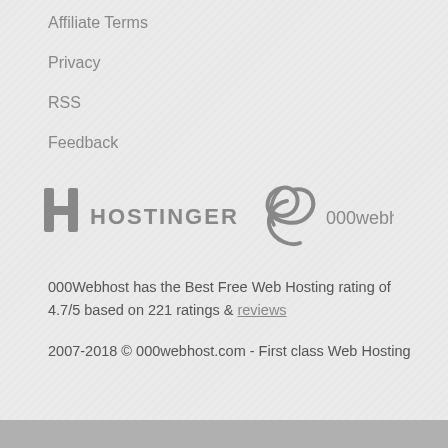Affiliate Terms
Privacy
RSS
Feedback
[Figure (logo): Hostinger 000webhost logo — H icon with HOSTINGER text and swirl graphic with 000webhost text, all in gray]
000Webhost has the Best Free Web Hosting rating of 4.7/5 based on 221 ratings & reviews
2007-2018 © 000webhost.com - First class Web Hosting